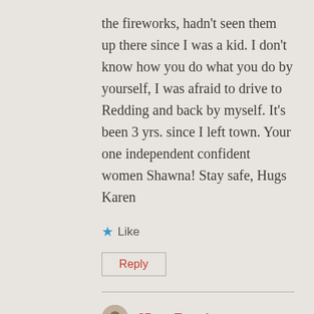the fireworks, hadn't seen them up there since I was a kid. I don't know how you do what you do by yourself, I was afraid to drive to Redding and back by myself. It's been 3 yrs. since I left town. Your one independent confident women Shawna! Stay safe, Hugs Karen
★ Like
Reply
2DogsTravel
July 11, 2019 at 6:58 am
Thank you, Karen, for your kind words.